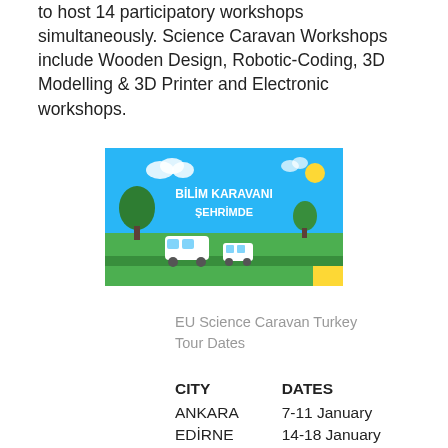to host 14 participatory workshops simultaneously. Science Caravan Workshops include Wooden Design, Robotic-Coding, 3D Modelling & 3D Printer and Electronic workshops.
[Figure (illustration): Colorful promotional illustration for 'Bilim Karavanı Şehrimde' (Science Caravan in My City) showing cartoon vehicles, trees, and clouds on a green and blue background with white text.]
EU Science Caravan Turkey Tour Dates
| CITY | DATES |
| --- | --- |
| ANKARA | 7-11 January |
| EDİRNE | 14-18 January |
| İSTANBUL | 4-8 February |
| İZMİR | 11-15 February |
| DENİZLİ | 18-22 February |